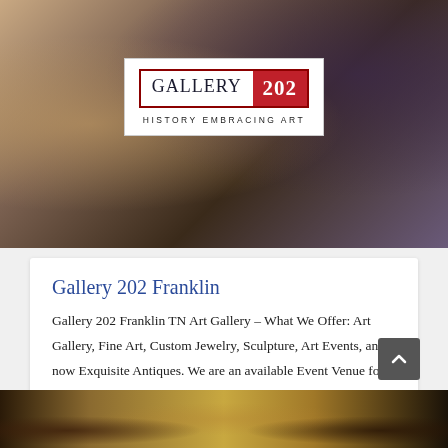[Figure (photo): Top banner photo showing colorful fabric/clothing items and decorative objects in warm tones with a gallery logo overlay]
Gallery 202 Franklin
Gallery 202 Franklin TN Art Gallery – What We Offer: Art Gallery, Fine Art, Custom Jewelry, Sculpture, Art Events, and now Exquisite Antiques. We are an available Event Venue for Special Occasions. Gallery [...]
[Figure (photo): Bottom strip photo showing decorative items on a table including ornate metal stands and decorative spheres in warm golden/brown tones]